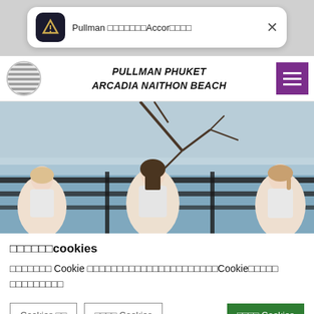[Figure (screenshot): Mobile notification bar showing Pullman hotel app notification with Accor branding and close button]
PULLMAN PHUKET
ARCADIA NAITHON BEACH
[Figure (photo): Three women in white tank tops doing yoga or fitness poses outdoors with ocean and tree branches visible in background]
□□□□□□cookies
□□□□□□□ Cookie □□□□□□□□□□□□□□□□□□□□□Cookie□□□□□ □□□□□□□□□
Cookies ññ | ñññ Cookies | ñññ Cookies